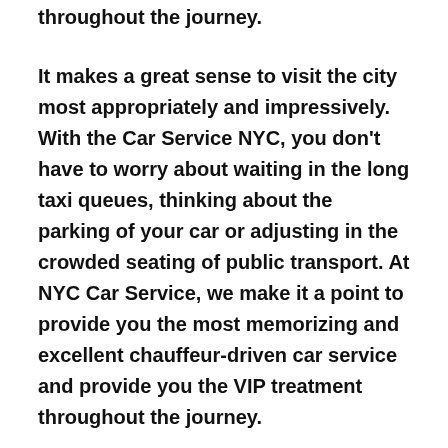throughout the journey.
It makes a great sense to visit the city most appropriately and impressively. With the Car Service NYC, you don't have to worry about waiting in the long taxi queues, thinking about the parking of your car or adjusting in the crowded seating of public transport. At NYC Car Service, we make it a point to provide you the most memorizing and excellent chauffeur-driven car service and provide you the VIP treatment throughout the journey.
We at NYC Car Service makes sure to provide you the safest mode of transportation whether you want to take a leisure ride in Ashville, NY, or wish to travel through New York City, Manhattan and